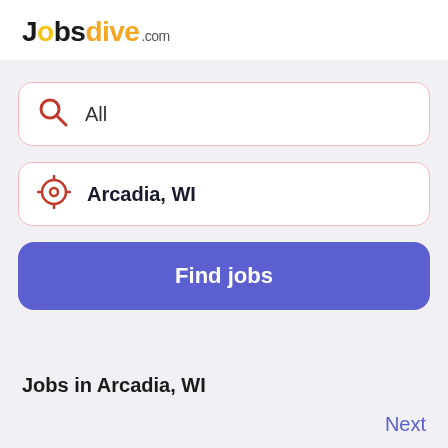[Figure (logo): Jobsdive.com logo with stylized 'o' and yellow/orange coloring on 'dive']
All
Arcadia, WI
Find jobs
Jobs in Arcadia, WI
Next